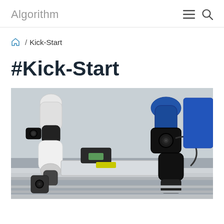Algorithm
/ Kick-Start
#Kick-Start
[Figure (photo): Industrial robotic arms with camera attachments on an assembly line, photographed close-up showing black and white robotic joints and grippers with cameras mounted, on a silver rail/conveyor system.]